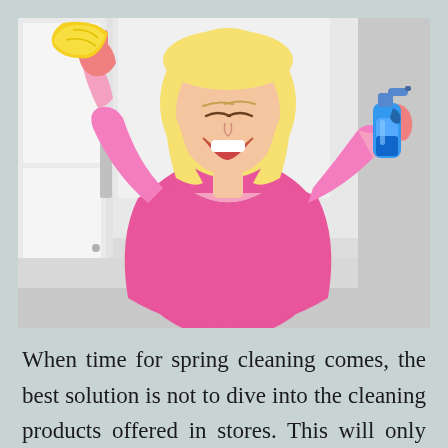[Figure (photo): A cheerful blonde woman wearing a pink top and pink rubber gloves, holding a yellow cleaning cloth in one hand raised up and a blue spray bottle in the other hand, laughing and looking upward, standing in front of white shelving in a domestic setting.]
When time for spring cleaning comes, the best solution is not to dive into the cleaning products offered in stores. This will only ensure